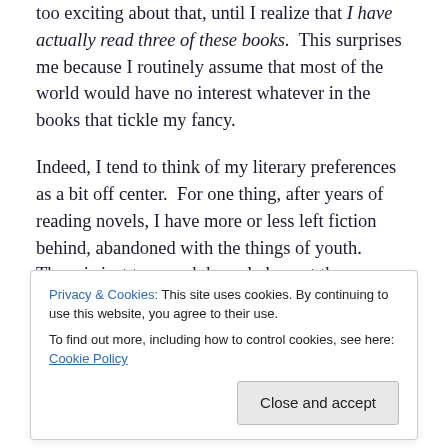too exciting about that, until I realize that I have actually read three of these books.  This surprises me because I routinely assume that most of the world would have no interest whatever in the books that tickle my fancy.
Indeed, I tend to think of my literary preferences as a bit off center.  For one thing, after years of reading novels, I have more or less left fiction behind, abandoned with the things of youth.  There is just too much knowledge out there awaiting my consumption (a word that conjures up images of both Mark Strand and Archibald Macleish) and application to, well, the meaning of life.  I'll add this to the
Privacy & Cookies: This site uses cookies. By continuing to use this website, you agree to their use.
To find out more, including how to control cookies, see here: Cookie Policy